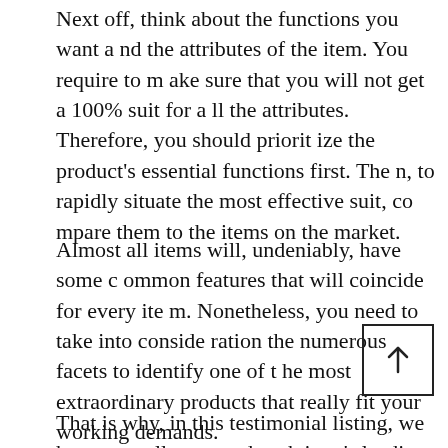Next off, think about the functions you want and the attributes of the item. You require to make sure that you will not get a 100% suit for all the attributes. Therefore, you should prioritize the product's essential functions first. Then, to rapidly situate the most effective suit, compare them to the items on the market.
Almost all items will, undeniably, have some common features that will coincide for every item. Nonetheless, you need to take into consideration the numerous facets to identify one of the most extraordinary products that really fit your working demands.
That is why, in this testimonial listing, we have actually covered each item's leading and m